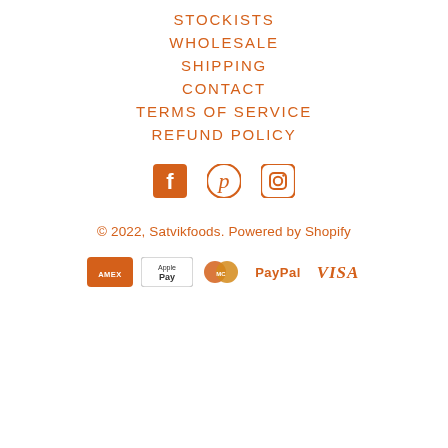STOCKISTS
WHOLESALE
SHIPPING
CONTACT
TERMS OF SERVICE
REFUND POLICY
[Figure (illustration): Social media icons: Facebook, Pinterest, Instagram in orange]
© 2022, Satvikfoods. Powered by Shopify
[Figure (illustration): Payment method icons: American Express, Apple Pay, Mastercard, PayPal, Visa]